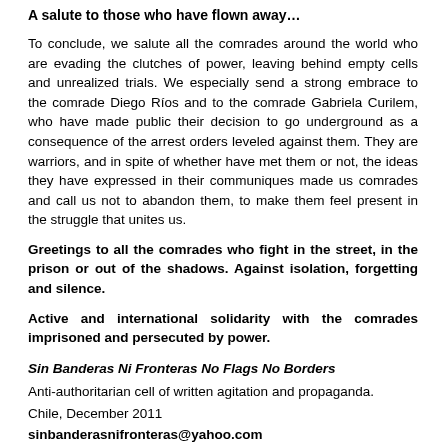A salute to those who have flown away…
To conclude, we salute all the comrades around the world who are evading the clutches of power, leaving behind empty cells and unrealized trials. We especially send a strong embrace to the comrade Diego Ríos and to the comrade Gabriela Curilem, who have made public their decision to go underground as a consequence of the arrest orders leveled against them. They are warriors, and in spite of whether have met them or not, the ideas they have expressed in their communiques made us comrades and call us not to abandon them, to make them feel present in the struggle that unites us.
Greetings to all the comrades who fight in the street, in the prison or out of the shadows. Against isolation, forgetting and silence.
Active and international solidarity with the comrades imprisoned and persecuted by power.
Sin Banderas Ni Fronteras No Flags No Borders
Anti-authoritarian cell of written agitation and propaganda.
Chile, December 2011
sinbanderasnifronteras@yahoo.com